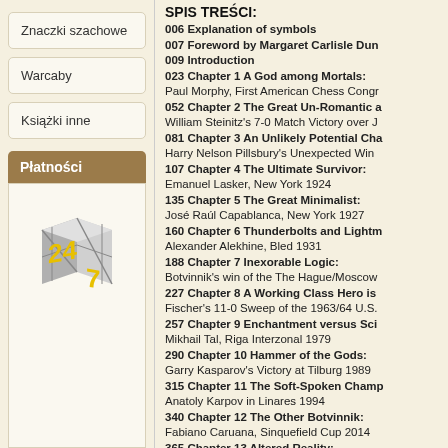Znaczki szachowe
Warcaby
Książki inne
Płatności
[Figure (illustration): 3D dice/cube graphic with numbers 24 and 7, grey metallic with yellow numbers]
SPIS TREŚCI:
006 Explanation of symbols
007 Foreword by Margaret Carlisle Dun
009 Introduction
023 Chapter 1 A God among Mortals: Paul Morphy, First American Chess Congr
052 Chapter 2 The Great Un-Romantic a William Steinitz's 7-0 Match Victory over J
081 Chapter 3 An Unlikely Potential Cha Harry Nelson Pillsbury's Unexpected Win
107 Chapter 4 The Ultimate Survivor: Emanuel Lasker, New York 1924
135 Chapter 5 The Great Minimalist: José Raúl Capablanca, New York 1927
160 Chapter 6 Thunderbolts and Lightm Alexander Alekhine, Bled 1931
188 Chapter 7 Inexorable Logic: Botvinnik's win of the The Hague/Moscow
227 Chapter 8 A Working Class Hero is Fischer's 11-0 Sweep of the 1963/64 U.S.
257 Chapter 9 Enchantment versus Sci Mikhail Tal, Riga Interzonal 1979
290 Chapter 10 Hammer of the Gods: Garry Kasparov's Victory at Tilburg 1989
315 Chapter 11 The Soft-Spoken Champ Anatoly Karpov in Linares 1994
340 Chapter 12 The Other Botvinnik: Fabiano Caruana, Sinquefield Cup 2014
365 Chapter 13 Altered Reality: Magnus Carlsen at the Grenke Chess Cla
393 Index of players
397 Bibliography